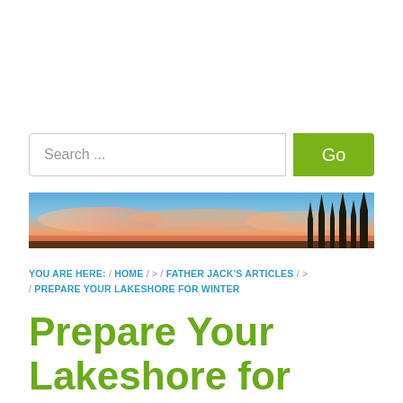[Figure (screenshot): Search bar with text 'Search ...' and a green 'Go' button]
[Figure (photo): Banner photo of a lake sunset with silhouetted trees and pink/orange sky]
YOU ARE HERE:  /  HOME  /  >  /  FATHER JACK'S ARTICLES  /  >  /  PREPARE YOUR LAKESHORE FOR WINTER
Prepare Your Lakeshore for Winter